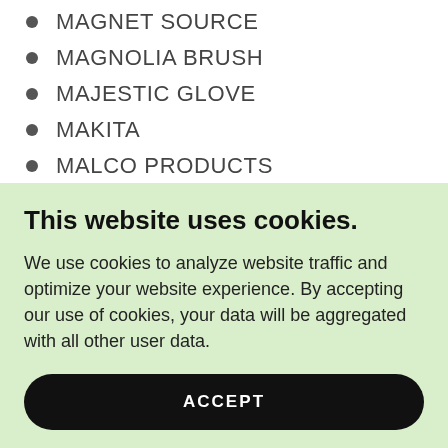MAGNET SOURCE
MAGNOLIA BRUSH
MAJESTIC GLOVE
MAKITA
MALCO PRODUCTS
Manila Rope
MAPA PROFESSIONAL
MARATHON SAW BLADES
This website uses cookies.
We use cookies to analyze website traffic and optimize your website experience. By accepting our use of cookies, your data will be aggregated with all other user data.
ACCEPT